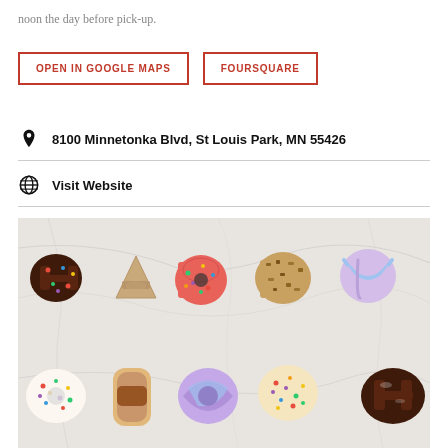noon the day before pick-up.
OPEN IN GOOGLE MAPS
FOURSQUARE
8100 Minnetonka Blvd, St Louis Park, MN 55426
Visit Website
[Figure (photo): Overhead photo of letter-shaped donuts spelling out 'HAPPY BIRTH' on a marble surface. Top row spells HAPPY with decorated donuts; bottom row shows BIRTH with colorful frosted donuts.]